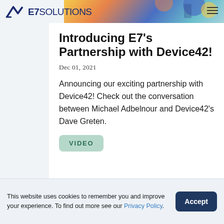E7 SOLUTIONS
[Figure (illustration): Colorful hero banner illustration with people and abstract shapes in yellow, orange, blue, and teal tones]
Introducing E7's Partnership with Device42!
Dec 01, 2021
Announcing our exciting partnership with Device42! Check out the conversation between Michael Adbelnour and Device42's Dave Greten.
VIDEO
This website uses cookies to remember you and improve your experience. To find out more see our Privacy Policy.